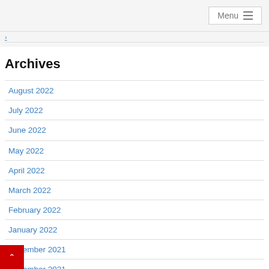Menu
Archives
August 2022
July 2022
June 2022
May 2022
April 2022
March 2022
February 2022
January 2022
December 2021
November 2021